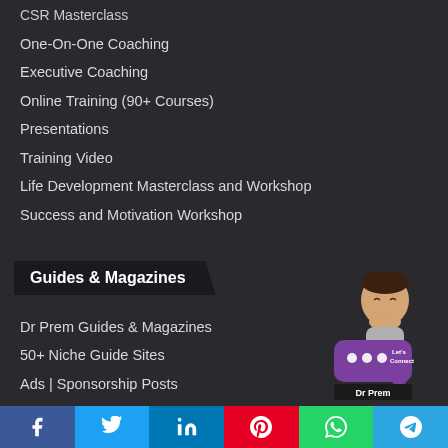CSR Masterclass
One-On-One Coaching
Executive Coaching
Online Training (90+ Courses)
Presentations
Training Video
Life Development Masterclass and Workshop
Success and Motivation Workshop
Guides & Magazines
Dr Prem Guides & Magazines
50+ Niche Guide Sites
Ads | Sponsorship Posts
Live A Great Life Guide
Medical Tourism Guide
Wellness Tourism Guide
Wellness Resort Guide
Wellness Therapy Guide
[Figure (illustration): Dr Prem Let's Connect widget with cartoon avatar and speech bubble]
Social share bar: Facebook, Twitter, LinkedIn, Pinterest, WhatsApp, Telegram